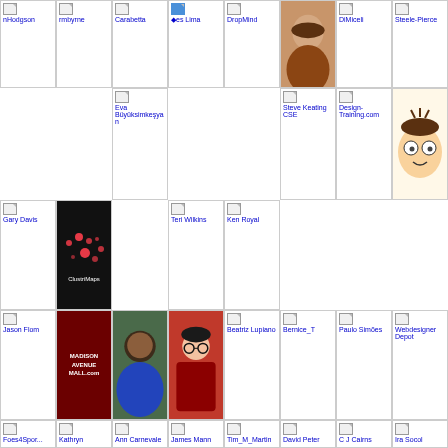[Figure (screenshot): Grid of social media follower/following avatars and icons, partially cut off at top. Shows profile images and broken image placeholders with alt text labels for various users including nHodgson, rmbyrne, Carabitta, yes Lima, DropMind, photo of woman, DiMiceli, Steele-Pierce, Eva Büyüksimkeşyan, Teri Wilkins, Ken Royal, Steve Keating CSE, Design-Training.com, cartoon avatar, Gary Davis, ClustriMaps logo, Jason Flom, Madison Avenue Mall, photo of man, woman avatar, Beatriz Lupiano, Bernice_T, Paulo Simoes, Webdesigner Depot, Foes4Sports, Kathryn, Ann Carnevale, James Mann, Tim_M_Martin, David Peter, C J Cairns, Ira Socol, Colette Cassinelli, laughandlearn, digitalchalk, Myles Webb, Erin Reilly, yin-yang logo, Ed, David Andrade]